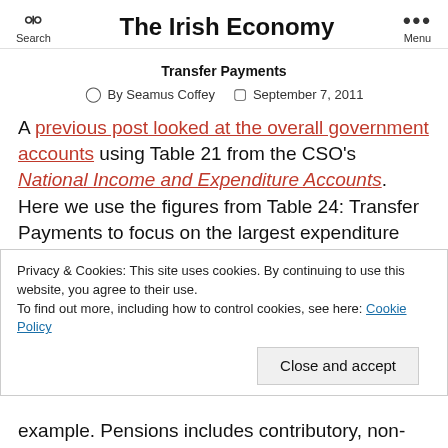The Irish Economy
Transfer Payments
By Seamus Coffey   September 7, 2011
A previous post looked at the overall government accounts using Table 21 from the CSO's National Income and Expenditure Accounts.  Here we use the figures from Table 24: Transfer Payments to focus on the largest expenditure item.  As we saw in the previous post
Privacy & Cookies: This site uses cookies. By continuing to use this website, you agree to their use.
To find out more, including how to control cookies, see here: Cookie Policy
example. Pensions includes contributory, non-